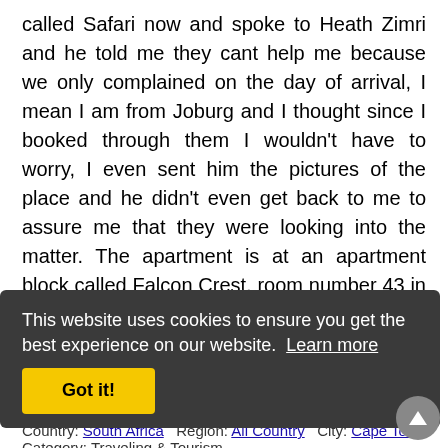called Safari now and spoke to Heath Zimri and he told me they cant help me because we only complained on the day of arrival, I mean I am from Joburg and I thought since I booked through them I wouldn't have to worry, I even sent him the pictures of the place and he didn't even get back to me to assure me that they were looking into the matter. The apartment is at an apartment block called Falcon Crest, room number 43 in Tygervalley Cape Town. The funny thing is that Heath also told me that, that apartment has been renovated which show that they don't verify their claims.
This website uses cookies to ensure you get the best experience on our website. Learn more
Author: Nomsa Ndebele
Date: 25/12/2015
Offender: Safarinow.com
Country: South Africa  Region: All Country  City: Cape Town
Category: Traveling & Tourism